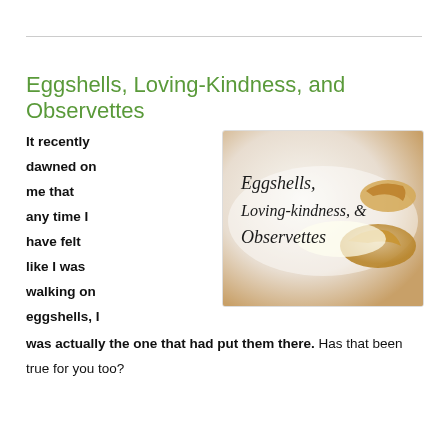Eggshells, Loving-Kindness, and Observettes
It recently dawned on me that any time I have felt like I was walking on eggshells, I was actually the one that had put them there. Has that been true for you too?
[Figure (photo): Photo of broken eggshells on a white surface with italic text overlay reading 'Eggshells, Loving-kindness, & Observettes']